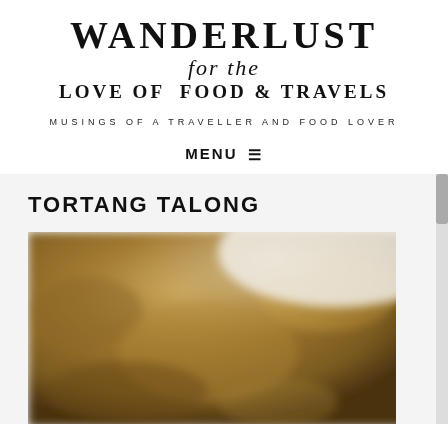[Figure (logo): Wanderlust for the Love of Food & Travels blog logo with stylized text]
MUSINGS OF A TRAVELLER AND FOOD LOVER
MENU ☰
TORTANG TALONG
[Figure (photo): Close-up blurred photo of Tortang Talong (Filipino eggplant omelette) with golden-brown surface]